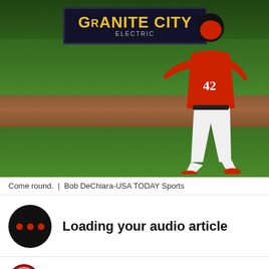[Figure (photo): Baseball player in red uniform number 42 running the bases on a baseball field. A billboard in the background reads GRANITE CITY ELECTRIC.]
Come round.  |  Bob DeChiara-USA TODAY Sports
Loading your audio article
[Figure (logo): Site logo - circular red and white baseball-themed logo]